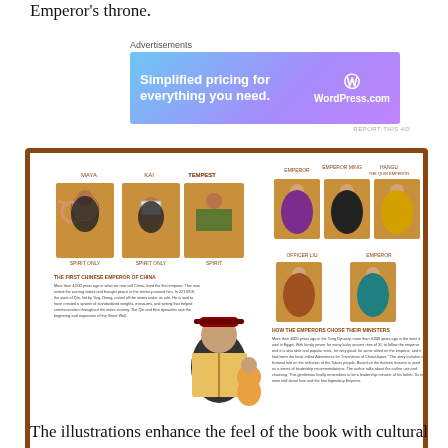Emperor's throne.
[Figure (infographic): Advertisement banner for WordPress.com with text 'Simplified pricing for everything you need.' with WordPress logo on a purple-blue gradient background.]
[Figure (illustration): A book spread illustration showing characters from a story: monkey characters labeled with names on the left page, and robed official figures on cards on the right page, along with a figure reading a book to a child.]
The illustrations enhance the feel of the book with cultural